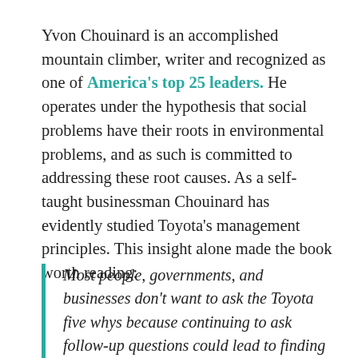Yvon Chouinard is an accomplished mountain climber, writer and recognized as one of America's top 25 leaders. He operates under the hypothesis that social problems have their roots in environmental problems, and as such is committed to addressing these root causes. As a self-taught businessman Chouinard has evidently studied Toyota's management principles. This insight alone made the book worth reading:
Most people, governments, and businesses don't want to ask the Toyota five whys because continuing to ask follow-up questions could lead to finding the real causes of their problems (more often than not...